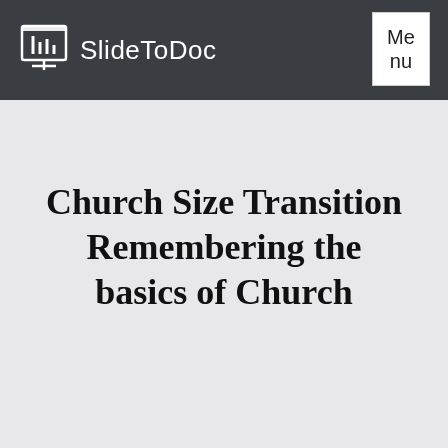SlideToDoc
Church Size Transition Remembering the basics of Church